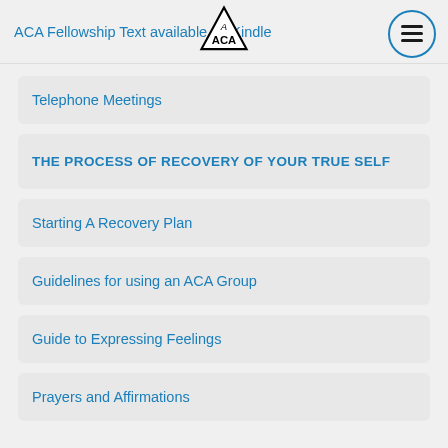ACA Fellowship Text available on Kindle
Telephone Meetings
THE PROCESS OF RECOVERY OF YOUR TRUE SELF
Starting A Recovery Plan
Guidelines for using an ACA Group
Guide to Expressing Feelings
Prayers and Affirmations